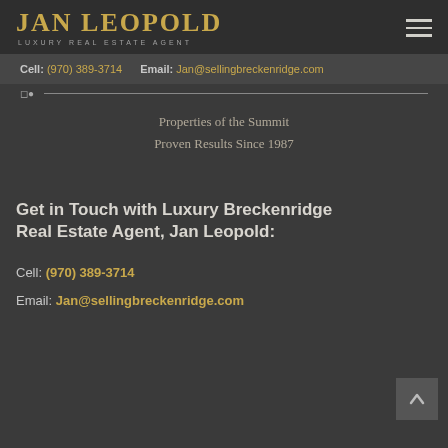JAN LEOPOLD — LUXURY REAL ESTATE AGENT
Cell: (970) 389-3714   Email: Jan@sellingbreckenridge.com
Properties of the Summit
Proven Results Since 1987
Get in Touch with Luxury Breckenridge Real Estate Agent, Jan Leopold:
Cell: (970) 389-3714
Email: Jan@sellingbreckenridge.com